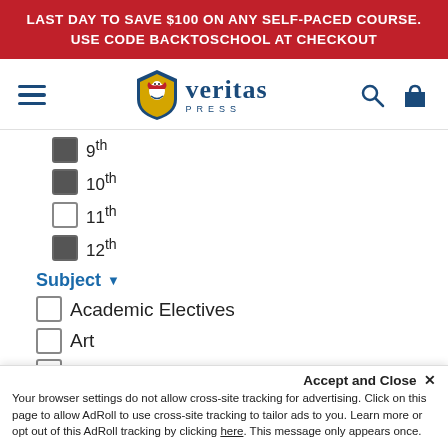LAST DAY TO SAVE $100 ON ANY SELF-PACED COURSE. USE CODE BACKTOSCHOOL AT CHECKOUT
[Figure (logo): Veritas Press logo with shield icon, hamburger menu, search and shopping bag icons]
9th (checked)
10th (checked)
11th (unchecked)
12th (checked)
Subject
Academic Electives (unchecked)
Art (unchecked)
Bible (unchecked)
English (checked)
Geography (partially visible, unchecked)
Accept and Close ✕
Your browser settings do not allow cross-site tracking for advertising. Click on this page to allow AdRoll to use cross-site tracking to tailor ads to you. Learn more or opt out of this AdRoll tracking by clicking here. This message only appears once.